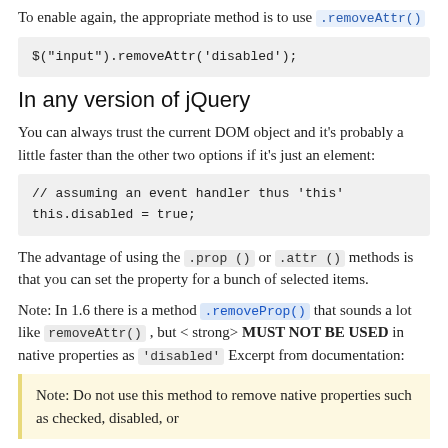To enable again, the appropriate method is to use .removeAttr()
$('input').removeAttr('disabled');
In any version of jQuery
You can always trust the current DOM object and it's probably a little faster than the other two options if it's just an element:
// assuming an event handler thus 'this'
this.disabled = true;
The advantage of using the .prop () or .attr () methods is that you can set the property for a bunch of selected items.
Note: In 1.6 there is a method .removeProp() that sounds a lot like removeAttr() , but < strong> MUST NOT BE USED in native properties as 'disabled' Excerpt from documentation:
Note: Do not use this method to remove native properties such as checked, disabled, or